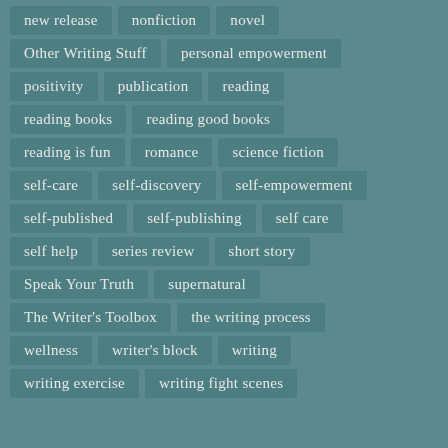new release
nonfiction
novel
Other Writing Stuff
personal empowerment
positivity
publication
reading
reading books
reading good books
reading is fun
romance
science fiction
self-care
self-discovery
self-empowerment
self-published
self-publishing
self care
self help
series review
short story
Speak Your Truth
supernatural
The Writer's Toolbox
the writing process
wellness
writer's block
writing
writing exercise
writing fight scenes